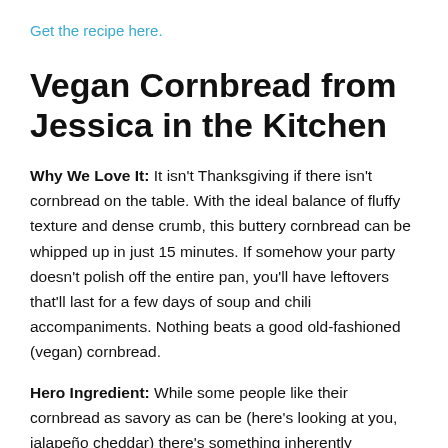Get the recipe here.
Vegan Cornbread from Jessica in the Kitchen
Why We Love It: It isn't Thanksgiving if there isn't cornbread on the table. With the ideal balance of fluffy texture and dense crumb, this buttery cornbread can be whipped up in just 15 minutes. If somehow your party doesn't polish off the entire pan, you'll have leftovers that'll last for a few days of soup and chili accompaniments. Nothing beats a good old-fashioned (vegan) cornbread.
Hero Ingredient: While some people like their cornbread as savory as can be (here's looking at you, jalapeño cheddar) there's something inherently comforting about a cornbread